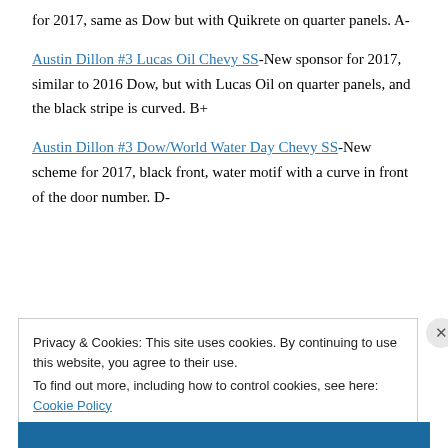for 2017, same as Dow but with Quikrete on quarter panels. A-
Austin Dillon #3 Lucas Oil Chevy SS-New sponsor for 2017, similar to 2016 Dow, but with Lucas Oil on quarter panels, and the black stripe is curved. B+
Austin Dillon #3 Dow/World Water Day Chevy SS-New scheme for 2017, black front, water motif with a curve in front of the door number. D-
Privacy & Cookies: This site uses cookies. By continuing to use this website, you agree to their use.
To find out more, including how to control cookies, see here: Cookie Policy